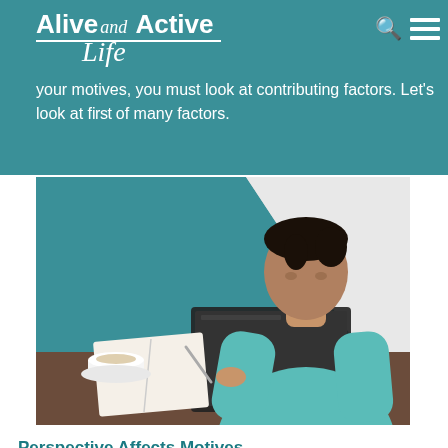Alive and Active Life | To understand your motives, you must look at contributing factors. Let's look at first of many factors.
[Figure (photo): A young man wearing a teal/mint sweatshirt sitting at a desk, writing in a notebook with a pen, with an open laptop in front of him and a white coffee cup to the side. Background has teal geometric shapes.]
Perspective Affects Motives
Perspective is essential for Jesus followers. This is hard in a broken, fallen world –